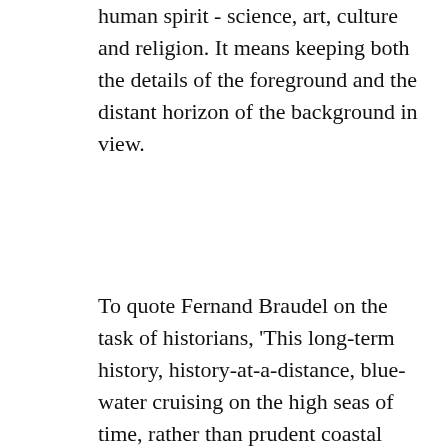human spirit - science, art, culture and religion. It means keeping both the details of the foreground and the distant horizon of the background in view.
To quote Fernand Braudel on the task of historians, 'This long-term history, history-at-a-distance, blue-water cruising on the high seas of time, rather than prudent coastal navigation never losing sight of the land - this way of proceeding, call it what you will - has both advantages and drawbacks. Its advantages are that it forces one to think, to explain matters in unaccustomed terms, and to use historical explanation as a key to one's own time. Its drawbacks or dangers are that it